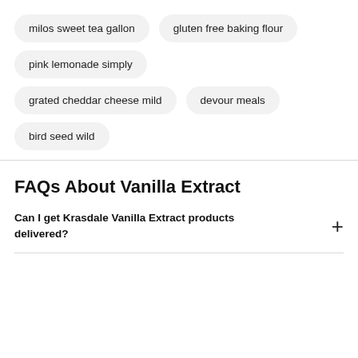milos sweet tea gallon
gluten free baking flour
pink lemonade simply
grated cheddar cheese mild
devour meals
bird seed wild
FAQs About Vanilla Extract
Can I get Krasdale Vanilla Extract products delivered?